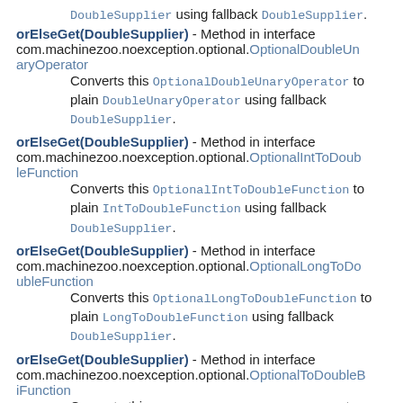DoubleSupplier using fallback DoubleSupplier.
orElseGet(DoubleSupplier) - Method in interface com.machinezoo.noexception.optional.OptionalDoubleUnaryOperator
Converts this OptionalDoubleUnaryOperator to plain DoubleUnaryOperator using fallback DoubleSupplier.
orElseGet(DoubleSupplier) - Method in interface com.machinezoo.noexception.optional.OptionalIntToDoubleFunction
Converts this OptionalIntToDoubleFunction to plain IntToDoubleFunction using fallback DoubleSupplier.
orElseGet(DoubleSupplier) - Method in interface com.machinezoo.noexception.optional.OptionalLongToDoubleFunction
Converts this OptionalLongToDoubleFunction to plain LongToDoubleFunction using fallback DoubleSupplier.
orElseGet(DoubleSupplier) - Method in interface com.machinezoo.noexception.optional.OptionalToDoubleBiFunction
Converts this OptionalToDoubleBiFunction to plain ToDoubleBiFunction using fallback DoubleSupplier.